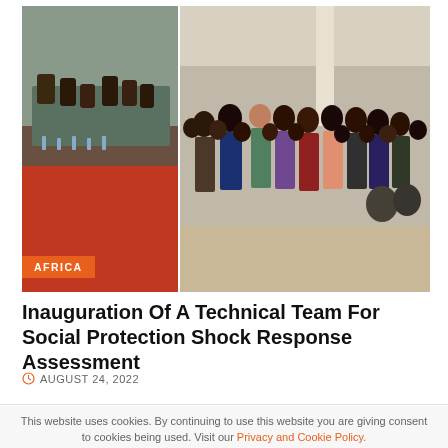[Figure (photo): Two-panel photo: left panel shows a meeting scene with people seated at a table with a red carpet floor; right panel shows a group of people standing together posing for a photo indoors.]
Inauguration Of A Technical Team For Social Protection Shock Response Assessment
AUGUST 24, 2022
This website uses cookies. By continuing to use this website you are giving consent to cookies being used. Visit our Privacy and Cookie Policy.